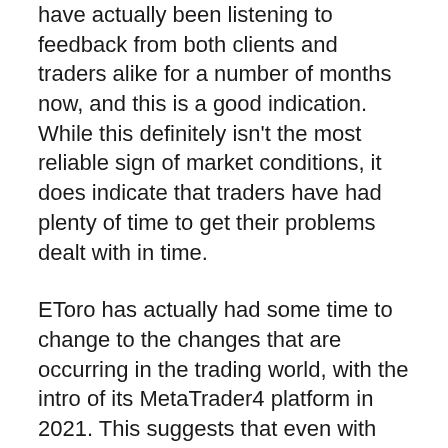have actually been listening to feedback from both clients and traders alike for a number of months now, and this is a good indication. While this definitely isn't the most reliable sign of market conditions, it does indicate that traders have had plenty of time to get their problems dealt with in time.
EToro has actually had some time to change to the changes that are occurring in the trading world, with the intro of its MetaTrader4 platform in 2021. This suggests that even with the reasonably current launch of its trading platform, there is still plenty of ongoing support being supplied by the advancement group.
Is Etoro Legit? Why Does